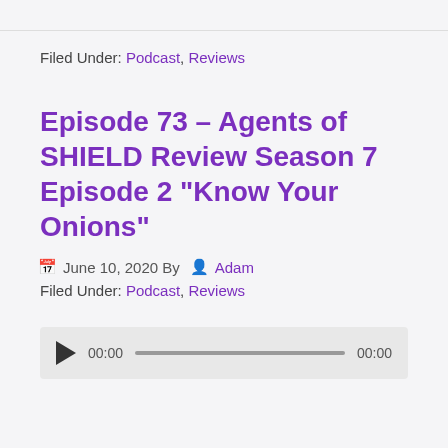Filed Under: Podcast, Reviews
Episode 73 – Agents of SHIELD Review Season 7 Episode 2 “Know Your Onions”
June 10, 2020 By Adam
Filed Under: Podcast, Reviews
[Figure (other): Audio player widget with play button, time display 00:00, progress bar, and end time 00:00]